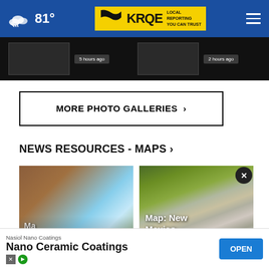81° KRQE LOCAL REPORTING YOU CAN TRUST
[Figure (screenshot): Two thumbnail images from photo gallery with timestamps '5 hours ago' and '2 hours ago' overlaid on dark background]
MORE PHOTO GALLERIES ›
NEWS RESOURCES - MAPS ›
[Figure (photo): Circular wooden frame sculpture with sky and clouds reflected, outdoor park setting. Caption partially reads 'Ma... Alb... Pul... F...' (Map: Albuquerque Public...)]
[Figure (photo): American flags on green grass with vertical poles. Caption reads 'Map: New Mexico Vete...']
[Figure (screenshot): Advertisement banner: Nasiol Nano Coatings - Nano Ceramic Coatings with OPEN button]